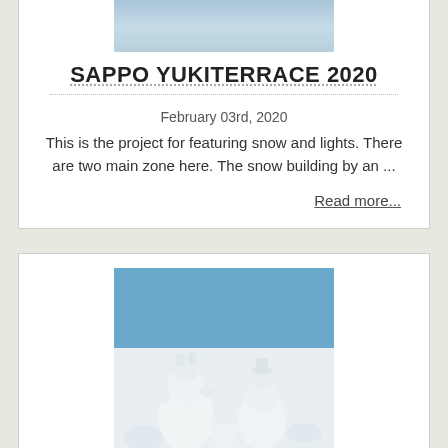[Figure (photo): Top portion of a snow/ice scene photograph (partially visible, cropped at top of page)]
SAPPO YUKITERRACE 2020
February 03rd, 2020
This is the project for featuring snow and lights. There are two main zone here. The snow building by an ...
Read more...
[Figure (photo): Snow sculpture showing cartoon-like figures (characters) against a blue sky background]
Sapporo Snow Festival 2020, Feb 4...